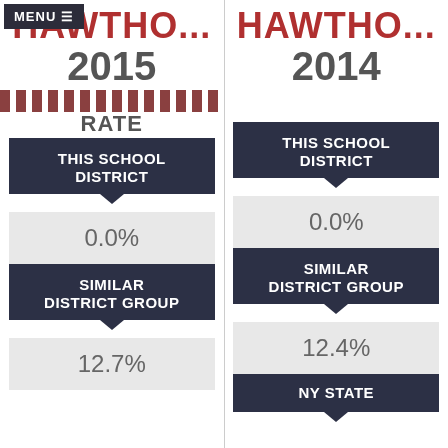MENU
HAWTHO... 2015
GRADUATION RATE
THIS SCHOOL DISTRICT
0.0%
SIMILAR DISTRICT GROUP
12.7%
HAWTHO... 2014
THIS SCHOOL DISTRICT
0.0%
SIMILAR DISTRICT GROUP
12.4%
NY STATE